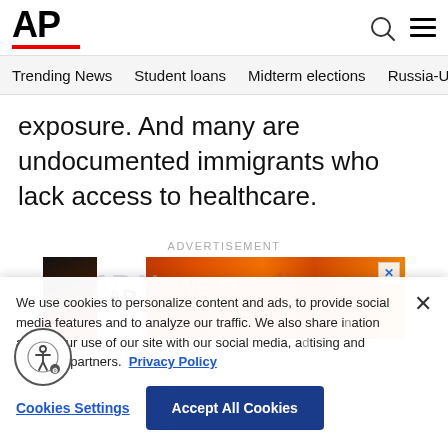[Figure (logo): AP (Associated Press) logo with red underline bar]
Trending News   Student loans   Midterm elections   Russia-Ukr
exposure. And many are undocumented immigrants who lack access to healthcare.
ADVERTISEMENT
[Figure (screenshot): AP advertisement banner with orange/fire background and AP logo]
We use cookies to personalize content and ads, to provide social media features and to analyze our traffic. We also share information about your use of our site with our social media, advertising and analytics partners. Privacy Policy
Cookies Settings   Accept All Cookies